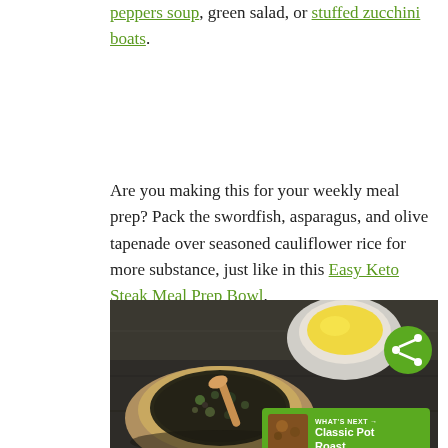peppers soup, green salad, or stuffed zucchini boats.
Are you making this for your weekly meal prep? Pack the swordfish, asparagus, and olive tapenade over seasoned cauliflower rice for more substance, just like in this Easy Keto Steak Meal Prep Bowl.
[Figure (photo): Photo of two ceramic bowls on a dark stone surface — a larger bowl with olive tapenade mixture and a wooden spoon, and a smaller bowl with yellow olive oil. A green vegetable is visible in the foreground. A green share button and a 'WHAT'S NEXT → Classic Pot Roast' banner overlay the bottom right.]